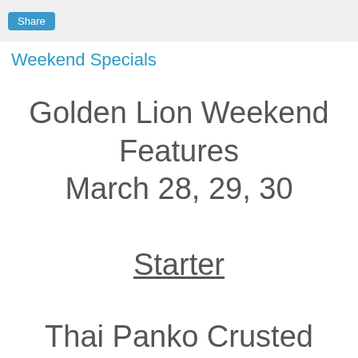Share
Weekend Specials
Golden Lion Weekend Features March 28, 29, 30
Starter
Thai Panko Crusted